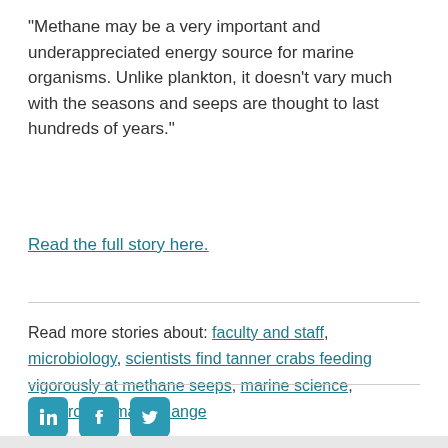“Methane may be a very important and underappreciated energy source for marine organisms. Unlike plankton, it doesn’t vary much with the seasons and seeps are thought to last hundreds of years.”
Read the full story here.
Read more stories about: faculty and staff, microbiology, scientists find tanner crabs feeding vigorously at methane seeps, marine science, research, climate change
[Figure (infographic): Social media icons for LinkedIn, Facebook, and Twitter in teal/blue square buttons]